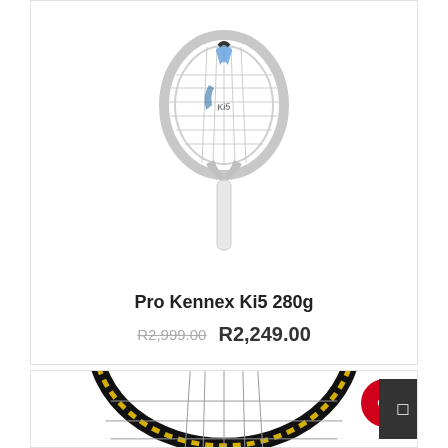[Figure (photo): White Pro Kennex Ki5 280g tennis racket shown vertically with handle pointing down, white frame with blue and black accents]
Pro Kennex Ki5 280g
R2,999.00  R2,249.00
[Figure (photo): Black and yellow tennis racket head shown from above, partially visible at bottom of page with an ON SALE badge and dark icon box overlay]